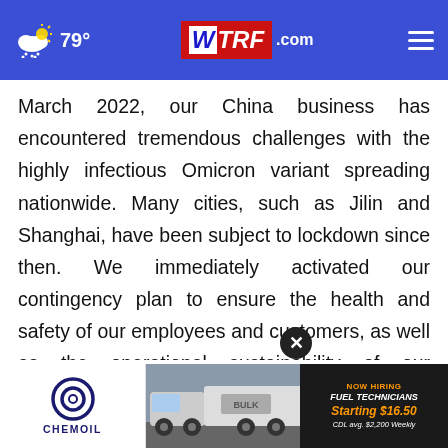WTRF.com | 79°
March 2022, our China business has encountered tremendous challenges with the highly infectious Omicron variant spreading nationwide. Many cities, such as Jilin and Shanghai, have been subject to lockdown since then. We immediately activated our contingency plan to ensure the health and safety of our employees and customers, as well as the operational sustainability of our hotels since the initial ... porate social responsibilities as a leading company, our
[Figure (screenshot): Chemoil advertisement with logo and truck image. Text reads NOW HIRING FUEL TECHNICIANS Starting $16.50 CDL avg. $2,200 Weekly]